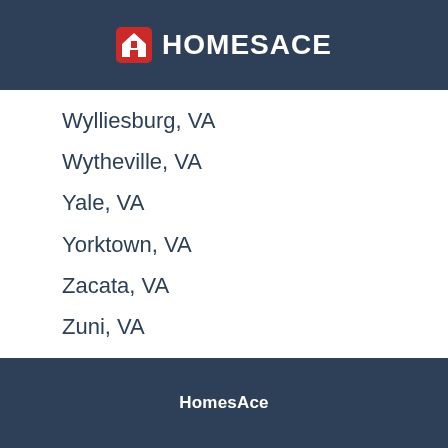HOMESACE
Wylliesburg, VA
Wytheville, VA
Yale, VA
Yorktown, VA
Zacata, VA
Zuni, VA
HomesAce